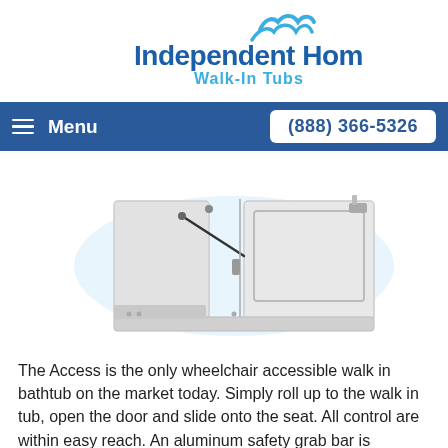[Figure (logo): Independent Home Walk-In Tubs logo with blue wave icon and blue text]
Menu | (888) 366-5326
[Figure (photo): White wheelchair accessible walk-in bathtub with door open, shown from a 3/4 angle perspective]
The Access is the only wheelchair accessible walk in bathtub on the market today. Simply roll up to the walk in tub, open the door and slide onto the seat. All control are within easy reach. An aluminum safety grab bar is conveniently mounted in the interior of the tub. Quick